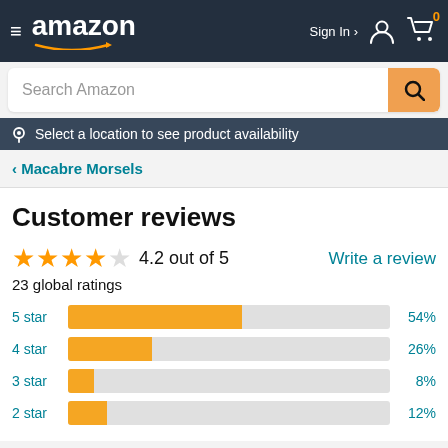Amazon navigation bar with hamburger menu, Amazon logo, Sign In, and cart icon
Search Amazon
Select a location to see product availability
< Macabre Morsels
Customer reviews
4.2 out of 5
23 global ratings
Write a review
[Figure (bar-chart): Star rating distribution]